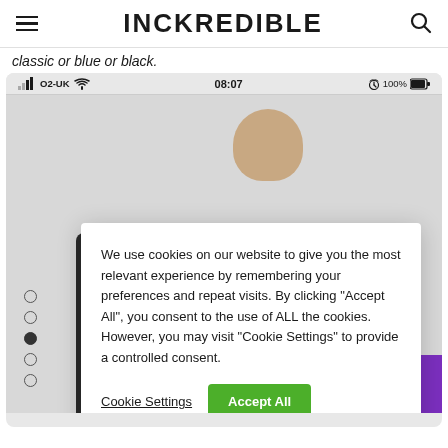INCKREDIBLE
classic or blue or black.
[Figure (screenshot): Mobile phone screenshot of INCKREDIBLE website showing a model wearing dark clothing, with a cookie consent dialog overlay reading: We use cookies on our website to give you the most relevant experience by remembering your preferences and repeat visits. By clicking "Accept All", you consent to the use of ALL the cookies. However, you may visit "Cookie Settings" to provide a controlled consent. Buttons: Cookie Settings, Accept All. Status bar shows O2-UK, 08:07, 100% battery.]